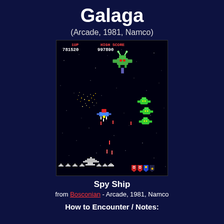Galaga
(Arcade, 1981, Namco)
[Figure (screenshot): Galaga arcade game screenshot showing space shooter gameplay with score display (1UP: 781520, HIGH SCORE: 997890), enemy alien ships including a green boss Galaga at top, green enemy ships on right, player ship firing in middle, explosion effect on left, red missiles, and pixel art spacecraft silhouettes along bottom edge with life/badge indicators]
Spy Ship
from Bosconian - Arcade, 1981, Namco
How to Encounter / Notes: